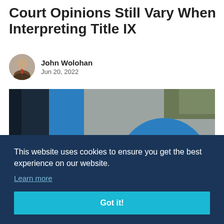Court Opinions Still Vary When Interpreting Title IX
John Wolohan
Jun 20, 2022
[Figure (photo): Abstract architectural photo with dark navy and blue geometric shapes including a large blue circle, against a grey wall with bokeh foliage in the background.]
This website uses cookies to ensure you get the best experience on our website.
Learn more
Got it!
1964, prohibiting discrimination in employment, it